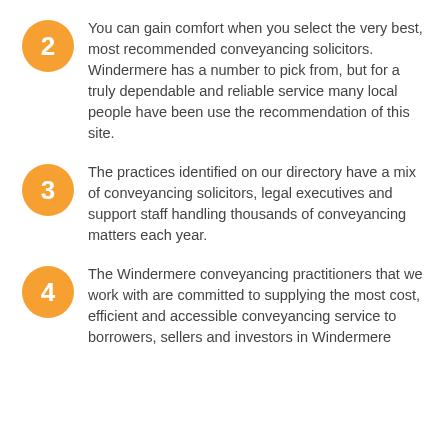2 — You can gain comfort when you select the very best, most recommended conveyancing solicitors. Windermere has a number to pick from, but for a truly dependable and reliable service many local people have been use the recommendation of this site.
3 — The practices identified on our directory have a mix of conveyancing solicitors, legal executives and support staff handling thousands of conveyancing matters each year.
4 — The Windermere conveyancing practitioners that we work with are committed to supplying the most cost, efficient and accessible conveyancing service to borrowers, sellers and investors in Windermere